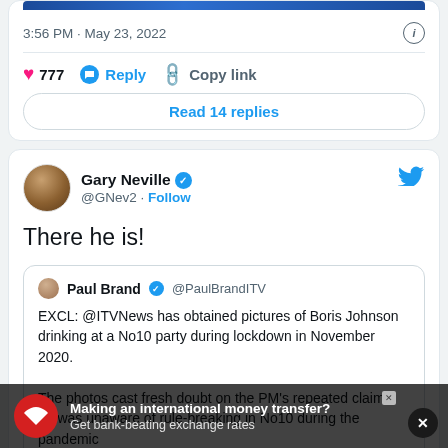3:56 PM · May 23, 2022
777  Reply  Copy link
Read 14 replies
Gary Neville @GNev2 · Follow
There he is!
Paul Brand @PaulBrandITV
EXCL: @ITVNews has obtained pictures of Boris Johnson drinking at a No10 party during lockdown in November 2020.

The photos cast fresh doubt on the PM's repeated claims he was unaware of rule-breaking in No10 during the pandemic
Making an international money transfer? Get bank-beating exchange rates